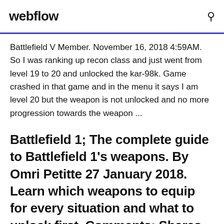webflow
Battlefield V Member. November 16, 2018 4:59AM. So I was ranking up recon class and just went from level 19 to 20 and unlocked the kar-98k. Game crashed in that game and in the menu it says I am level 20 but the weapon is not unlocked and no more progression towards the weapon ...
Battlefield 1; The complete guide to Battlefield 1's weapons. By Omri Petitte 27 January 2018. Learn which weapons to equip for every situation and what to unlock first. Comments; Shares